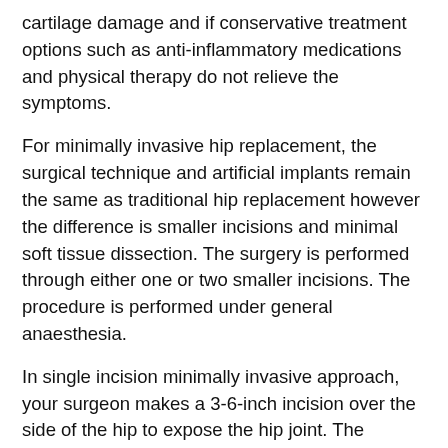cartilage damage and if conservative treatment options such as anti-inflammatory medications and physical therapy do not relieve the symptoms.
For minimally invasive hip replacement, the surgical technique and artificial implants remain the same as traditional hip replacement however the difference is smaller incisions and minimal soft tissue dissection. The surgery is performed through either one or two smaller incisions. The procedure is performed under general anaesthesia.
In single incision minimally invasive approach, your surgeon makes a 3-6-inch incision over the side of the hip to expose the hip joint. The muscles are minimally dissected to reach the joint. The femur is dislocated from the acetabulum. The surface of the socket is cleaned and the arthritic bone is removed using a reamer. The acetabular implant is inserted into the socket using screws or special cement. A liner material of plastic, ceramic or metal is placed inside the acetabular component. The femur or thigh bone is